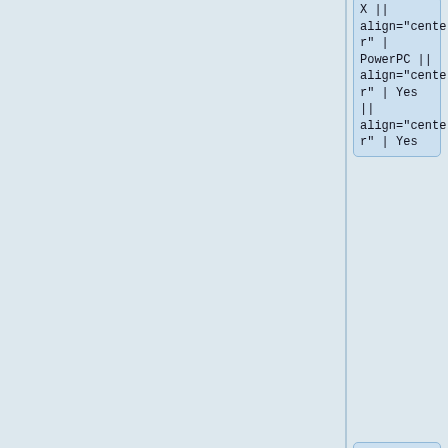X || align="center" | PowerPC || align="center" | Yes || align="center" | Yes
|-
| align="center" | AppleProResDecoder.qtx || align="center" | 1.0.0.1 || align="center" |